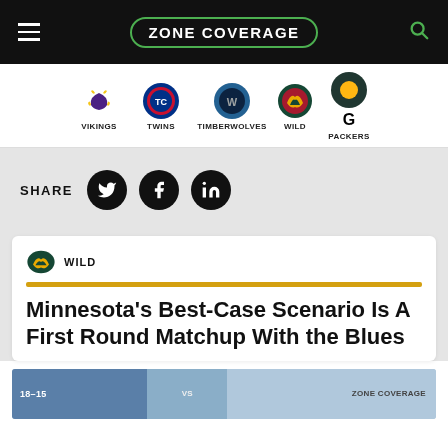ZONE COVERAGE
[Figure (logo): Zone Coverage site logo — white text in green circle border on black background]
[Figure (infographic): Team navigation bar with logos and labels: VIKINGS, TWINS, TIMBERWOLVES, WILD, PACKERS]
SHARE
[Figure (infographic): Social share buttons: Twitter, Facebook, LinkedIn (black circular icons)]
[Figure (logo): Minnesota Wild logo small icon]
WILD
Minnesota's Best-Case Scenario Is A First Round Matchup With the Blues
[Figure (screenshot): Partial hockey scoreboard image at bottom of page]